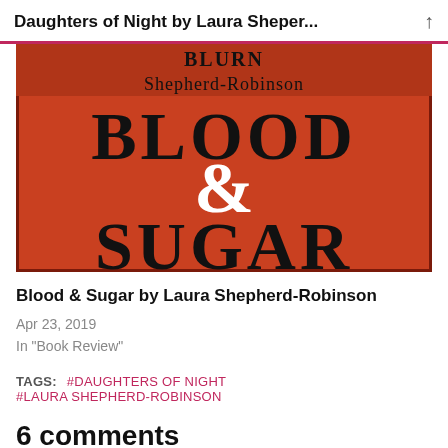Daughters of Night by Laura Sheper...
[Figure (photo): Book cover of 'Blood & Sugar' by Laura Shepherd-Robinson, showing a red background with the title in large black serif letters and an ornate white ampersand in the center.]
Blood & Sugar by Laura Shepherd-Robinson
Apr 23, 2019
In "Book Review"
TAGS:   #DAUGHTERS OF NIGHT   #LAURA SHEPHERD-ROBINSON
6 comments